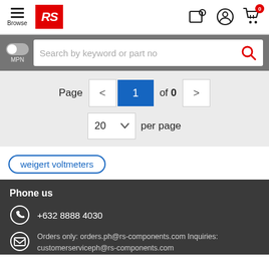Browse | RS Components Philippines
Search by keyword or part no
Page 1 of 0 | 20 per page
weigert voltmeters
Phone us
+632 8888 4030
Orders only: orders.ph@rs-components.com Inquiries: customerserviceph@rs-components.com